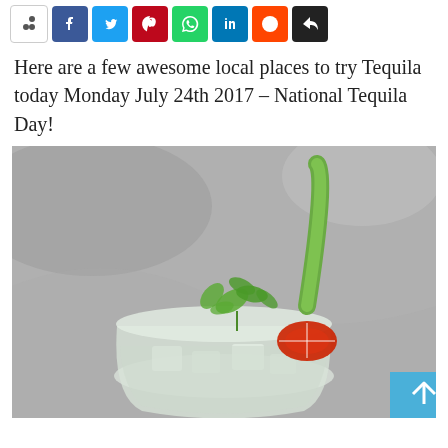[Figure (other): Social share bar with buttons: blank/count, Facebook (blue), Twitter (cyan), Pinterest (red), WhatsApp (green), LinkedIn (blue), Reddit (orange), black share button]
Here are a few awesome local places to try Tequila today Monday July 24th 2017 – National Tequila Day!
[Figure (photo): A tequila cocktail in a clear glass with ice, garnished with fresh cilantro, a sliced red chili pepper on the rim, and a tall green cucumber spear. The background is a gray marble surface, partially desaturated.]